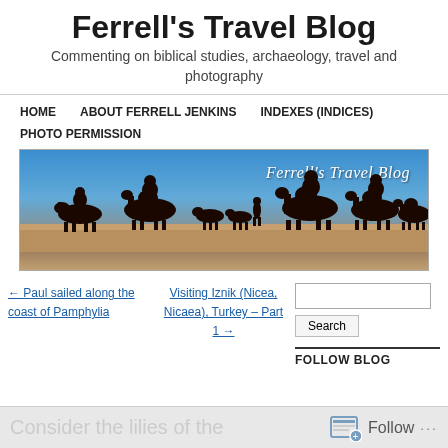Ferrell's Travel Blog
Commenting on biblical studies, archaeology, travel and photography
HOME
ABOUT FERRELL JENKINS
INDEXES (INDICES)
PHOTO PERMISSION
[Figure (illustration): Banner image showing silhouettes of camels and riders against a blue sky desert scene, with text 'Ferrell's Travel Blog']
← Paul sailed along the coast of Pamphylia
Visiting Iznik (Nicea, Nicaea), Turkey – Part 1 →
FOLLOW BLOG
Consider the lilies of the
Follow ...